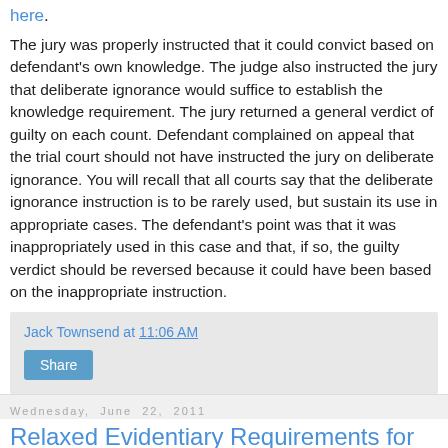here.
The jury was properly instructed that it could convict based on defendant's own knowledge. The judge also instructed the jury that deliberate ignorance would suffice to establish the knowledge requirement. The jury returned a general verdict of guilty on each count. Defendant complained on appeal that the trial court should not have instructed the jury on deliberate ignorance. You will recall that all courts say that the deliberate ignorance instruction is to be rarely used, but sustain its use in appropriate cases. The defendant's point was that it was inappropriately used in this case and that, if so, the guilty verdict should be reversed because it could have been based on the inappropriate instruction.
Jack Townsend at 11:06 AM
Share
Wednesday, June 22, 2011
Relaxed Evidentiary Requirements for